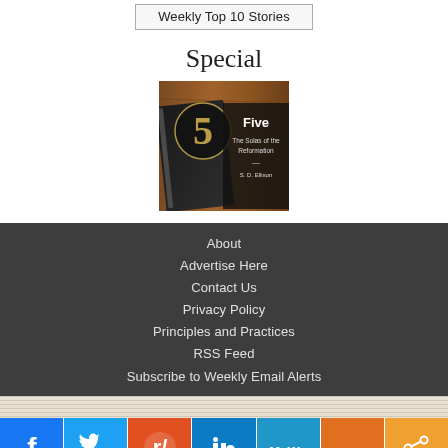[Figure (other): Button/link labeled 'Weekly Top 10 Stories']
Special
[Figure (illustration): Book cover: 'Five – The Solas of the Reformation – S. D. Ellison', dark cover with decorative number 5, on a wooden surface]
About
Advertise Here
Contact Us
Privacy Policy
Principles and Practices
RSS Feed
Subscribe to Weekly Email Alerts
[Figure (other): Social share bar with icons: Facebook, Twitter, Reddit, LinkedIn, MeWe, Mix, Share]